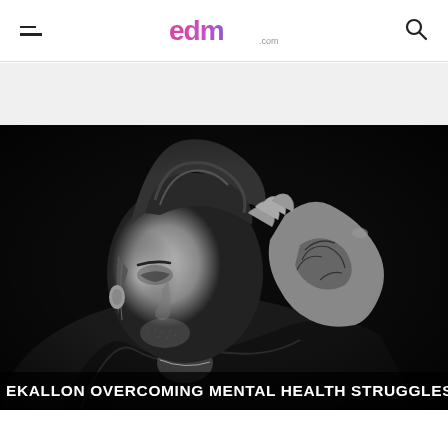edm.com
[Figure (photo): Black and white portrait photo of a man with a fade haircut and tattoos on his hand, wearing a leather jacket, looking to the left while touching his hair]
EKALLON OVERCOMING MENTAL HEALTH STRUGGLES